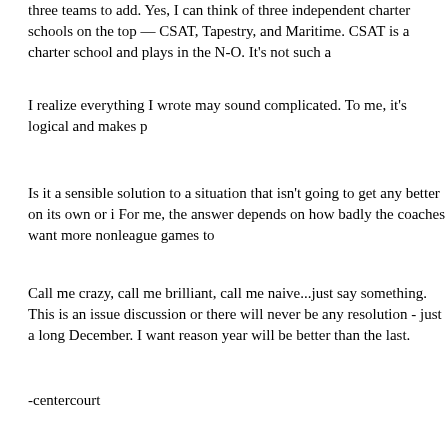three teams to add.  Yes, I can think of three independent charter schools on the top — CSAT, Tapestry, and Maritime.  CSAT is a charter school and plays in the N-O.  It's not such a
I realize everything I wrote may sound complicated.  To me, it's logical and makes p
Is it a sensible solution to a situation that isn't going to get any better on its own or i For me, the answer depends on how badly the coaches want more nonleague games to
Call me crazy, call me brilliant, call me naive...just say something.  This is an issue discussion or there will never be any resolution - just a long December.  I want reason year will be better than the last.
-centercourt